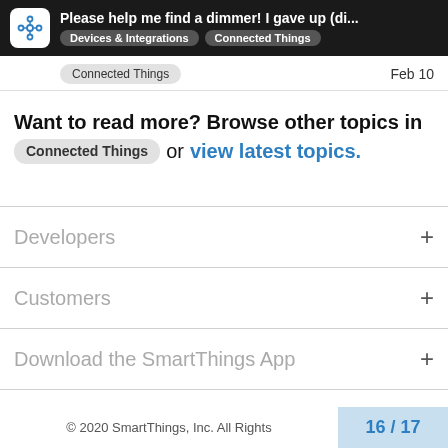Please help me find a dimmer! I gave up (di... | Devices & Integrations | Connected Things
Connected Things   Feb 10
Want to read more? Browse other topics in Connected Things or view latest topics.
Developers
Customers
Download the SmartThings App
© 2020 SmartThings, Inc. All Rights   16 / 17